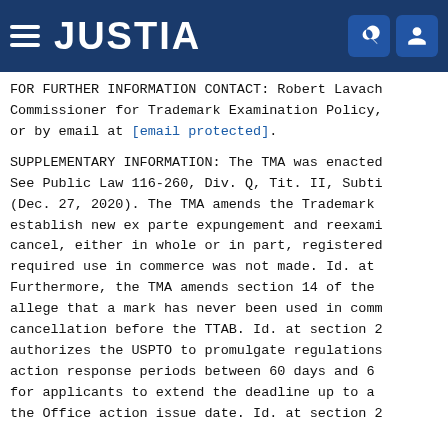JUSTIA
FOR FURTHER INFORMATION CONTACT: Robert Lavach, Commissioner for Trademark Examination Policy, or by email at [email protected].
SUPPLEMENTARY INFORMATION: The TMA was enacted. See Public Law 116-260, Div. Q, Tit. II, Subtit. (Dec. 27, 2020). The TMA amends the Trademark establish new ex parte expungement and reexami cancel, either in whole or in part, registered required use in commerce was not made. Id. at Furthermore, the TMA amends section 14 of the allege that a mark has never been used in comm cancellation before the TTAB. Id. at section 2 authorizes the USPTO to promulgate regulations action response periods between 60 days and 6 for applicants to extend the deadline up to a the Office action issue date. Id. at section 2